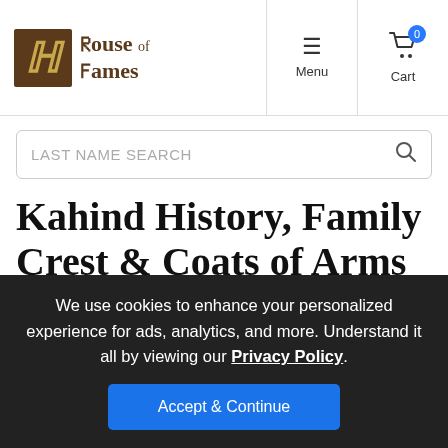[Figure (logo): House of Names logo with decorative H in brown box and blackletter text]
Menu | Cart 0
LAST NAME SEARCH
Kahind History, Family Crest & Coats of Arms
Origins Available: Ireland
We use cookies to enhance your personalized experience for ads, analytics, and more. Understand it all by viewing our Privacy Policy.
Accept & Continue